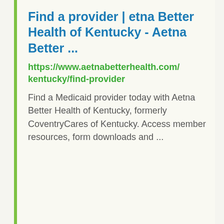Find a provider | etna Better Health of Kentucky - Aetna Better ...
https://www.aetnabetterhealth.com/kentucky/find-provider
Find a Medicaid provider today with Aetna Better Health of Kentucky, formerly CoventryCares of Kentucky. Access member resources, form downloads and ...